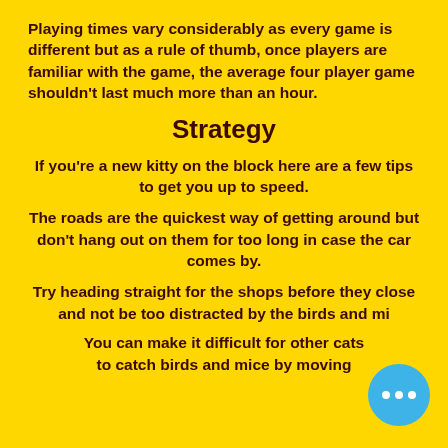Playing times vary considerably as every game is different but as a rule of thumb, once players are familiar with the game, the average four player game shouldn't last much more than an hour.
Strategy
If you're a new kitty on the block here are a few tips to get you up to speed.
The roads are the quickest way of getting around but don't hang out on them for too long in case the car comes by.
Try heading straight for the shops before they close and not be too distracted by the birds and mi...
You can make it difficult for other cats to catch birds and mice by moving